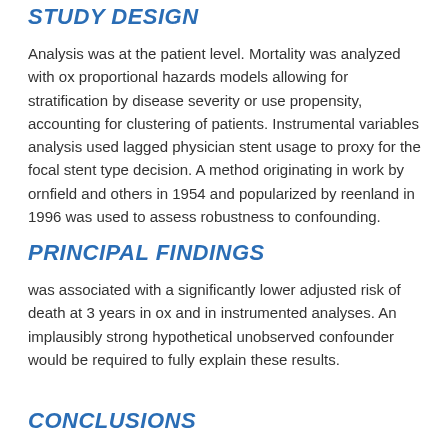STUDY DESIGN
Analysis was at the patient level. Mortality was analyzed with ox proportional hazards models allowing for stratification by disease severity or use propensity, accounting for clustering of patients. Instrumental variables analysis used lagged physician stent usage to proxy for the focal stent type decision. A method originating in work by ornfield and others in 1954 and popularized by reenland in 1996 was used to assess robustness to confounding.
PRINCIPAL FINDINGS
was associated with a significantly lower adjusted risk of death at 3 years in ox and in instrumented analyses. An implausibly strong hypothetical unobserved confounder would be required to fully explain these results.
CONCLUSIONS